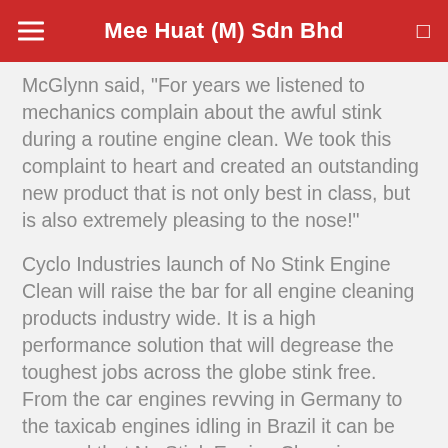Mee Huat (M) Sdn Bhd
McGlynn said, "For years we listened to mechanics complain about the awful stink during a routine engine clean.  We took this complaint to heart and created an outstanding new product that is not only best in class, but is also extremely pleasing to the nose!"
Cyclo Industries launch of No Stink Engine Clean will raise the bar for all engine cleaning products industry wide.  It is a high performance solution that will degrease the toughest jobs across the globe stink free.  From the car engines revving in Germany to the taxicab engines idling in Brazil it can be assured that No Stink Engine Clean is unmatched in performance and in smell by the competition.